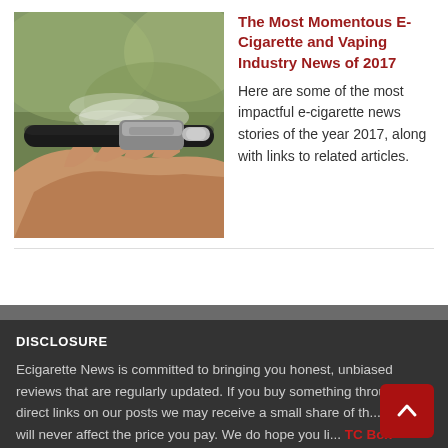[Figure (photo): Close-up photo of a hand holding an e-cigarette with vapor smoke visible against a blurred outdoor background]
The Most Momentous E-Cigarette and Vaping Industry News of 2017
Here are some of the most impactful e-cigarette news stories of the year 2017, along with links to related articles.
DISCLOSURE
Ecigarette News is committed to bringing you honest, unbiased reviews that are regularly updated. If you buy something through direct links on our posts we may receive a small share of th... but it will never affect the price you pay. We do hope you li... TC Box MODs.